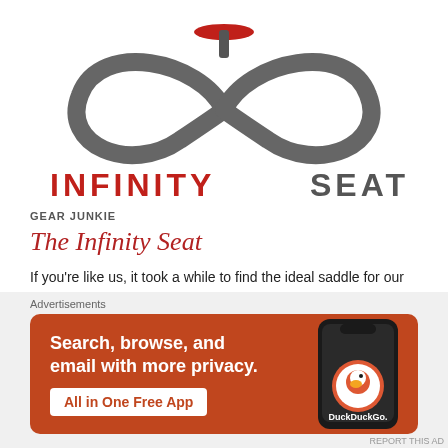[Figure (logo): Infinity Seat logo: a large infinity symbol in dark gray with a red bicycle seat/saddle at the top, and partially visible text 'INFINITY SEAT' in red/dark letters below the symbol]
GEAR JUNKIE
The Infinity Seat
If you're like us, it took a while to find the ideal saddle for our bikes.  And there was also an "adjustment" period, and definitely soreness after century rides.  And what works for us doesn't necessarily work for others. Well, here's another neat, new project from Kick Starter that aims to revolutionize the bicycle saddle. Continue reading...
Advertisements
[Figure (photo): DuckDuckGo advertisement banner on orange-red background: 'Search, browse, and email with more privacy. All in One Free App' with a smartphone showing the DuckDuckGo app]